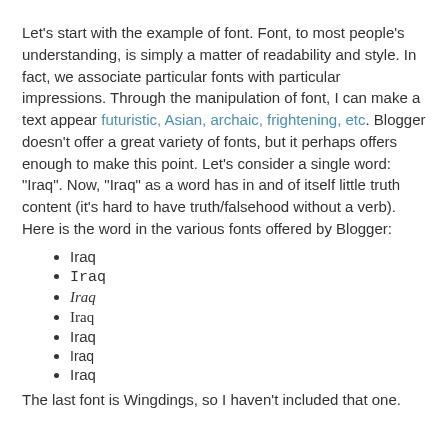Let's start with the example of font. Font, to most people's understanding, is simply a matter of readability and style. In fact, we associate particular fonts with particular impressions. Through the manipulation of font, I can make a text appear futuristic, Asian, archaic, frightening, etc. Blogger doesn't offer a great variety of fonts, but it perhaps offers enough to make this point. Let's consider a single word: "Iraq". Now, "Iraq" as a word has in and of itself little truth content (it's hard to have truth/falsehood without a verb). Here is the word in the various fonts offered by Blogger:
Iraq (sans-serif)
Iraq (monospace)
Iraq (serif italic)
Iraq (Times New Roman)
Iraq (Trebuchet MS)
Iraq (Verdana)
Iraq (Comic Sans)
The last font is Wingdings, so I haven't included that one.